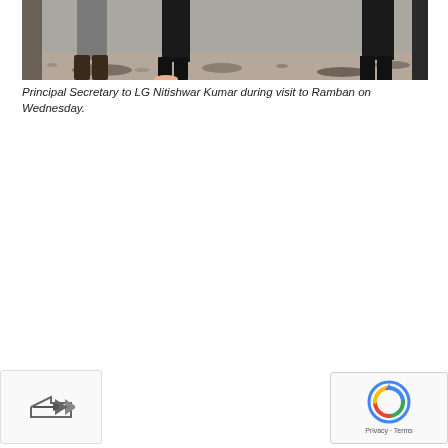[Figure (photo): Photo showing feet and lower legs of people standing on rocky/gravelly ground during a visit to Ramban]
Principal Secretary to LG Nitishwar Kumar during visit to Ramban on Wednesday.